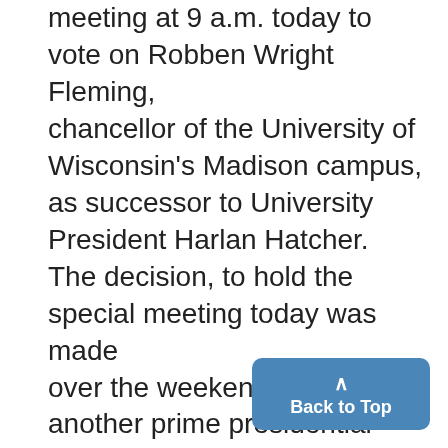meeting at 9 a.m. today to vote on Robben Wright Fleming, chancellor of the University of Wisconsin's Madison campus, as successor to University President Harlan Hatcher. The decision, to hold the special meeting today was made over the weekend after another prime presidential pros- pect, U.S. Secretary of Health, Education and Welfare John Gardner, told the Regents he w take the job here if
Back to Top